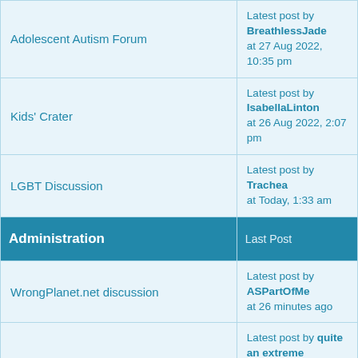| Forum | Last Post |
| --- | --- |
| Adolescent Autism Forum | Latest post by BreathlessJade at 27 Aug 2022, 10:35 pm |
| Kids' Crater | Latest post by IsabellaLinton at 26 Aug 2022, 2:07 pm |
| LGBT Discussion | Latest post by Trachea at Today, 1:33 am |
| Administration | Last Post |
| WrongPlanet.net discussion | Latest post by ASPartOfMe at 26 minutes ago |
| Stats | Latest post by quite an extreme at 11 Aug 2022, 7:45 am |
| Foreign Languages | Last Post |
| Español, Nederlands, Deutsch, Français | Latest post by DeepHour at Yesterday, 8:27 am |